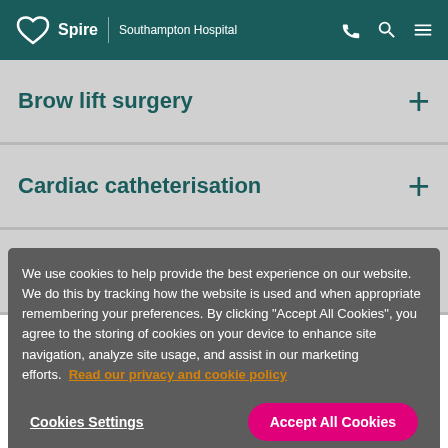Spire | Southampton Hospital
Brow lift surgery
Cardiac catheterisation
Carpal tunnel syndrome surgery
We use cookies to help provide the best experience on our website. We do this by tracking how the website is used and when appropriate remembering your preferences. By clicking "Accept All Cookies", you agree to the storing of cookies on your device to enhance site navigation, analyze site usage, and assist in our marketing efforts. Read our privacy and cookie policy
Cookies Settings
Accept All Cookies